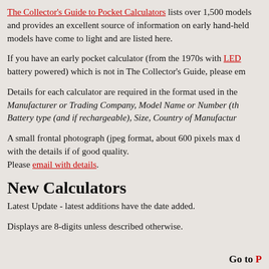The Collector's Guide to Pocket Calculators lists over 1,500 models and provides an excellent source of information on early hand-held calculators. Since publication, more models have come to light and are listed here.
If you have an early pocket calculator (from the 1970s with LED display, battery powered) which is not in The Collector's Guide, please email with details.
Details for each calculator are required in the format used in the book: Manufacturer or Trading Company, Model Name or Number (the display), Battery type (and if rechargeable), Size, Country of Manufacture.
A small frontal photograph (jpeg format, about 600 pixels max dimension) with the details if of good quality.
Please email with details.
New Calculators
Latest Update - latest additions have the date added.
Displays are 8-digits unless described otherwise.
Go to P